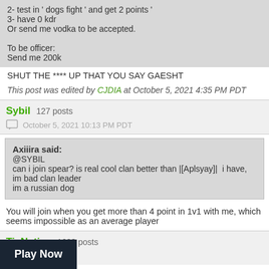2- test in ' dogs fight ' and get 2 points '
3- have 0 kdr
Or send me vodka to be accepted.

To be officer:
Send me 200k
SHUT THE **** UP THAT YOU SAY GAESHT
This post was edited by CJDIA at October 5, 2021 4:35 PM PDT
Sybil 127 posts
October 5, 2021 10:13 PM PDT
Axiiira said:
@SYBIL
can i join spear? is real cool clan better than |[Aplsyay]|  i have, im bad clan leader
im a russian dog
You will join when you get more than 4 point in 1v1 with me, which seems impossible as an average player
TisNative 1623 posts
10:51 PM PDT
p breath